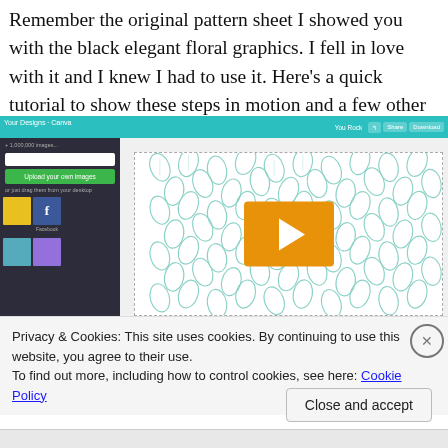Remember the original pattern sheet I showed you with the black elegant floral graphics. I fell in love with it and I knew I had to use it. Here's a quick tutorial to show these steps in motion and a few other tips.
[Figure (screenshot): Screenshot of the Canva design tool interface showing a leaf pattern design with a video play button overlay, and a cookie consent banner at the bottom.]